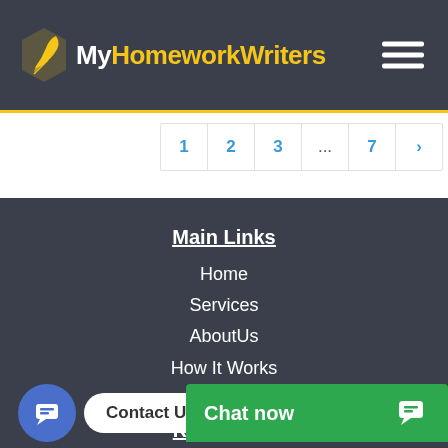[Figure (logo): MyHomeworkWriters logo with feather pen icon and hamburger menu]
[Figure (screenshot): Pagination bar with page numbers 1, 2, 3, ..., 7 and next arrow]
Main Links
Home
Services
AboutUs
How It Works
Blog
Resources
[Figure (screenshot): Chat overlay: blue chat icon circle, Contact Us pill, and green Chat now bar with icon]